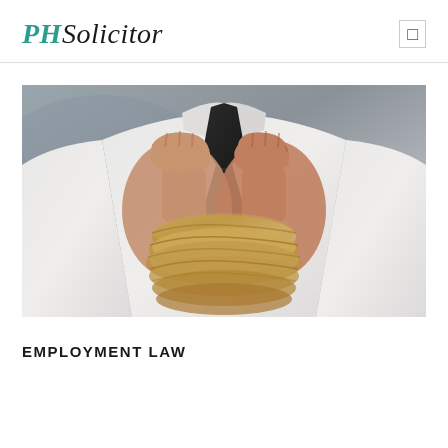PHSolicitor
[Figure (photo): A man in a white dress shirt and dark tie with his wrists bound tightly together with thick rope, hands clenched into fists, symbolizing restraint or captivity in the context of employment law.]
EMPLOYMENT LAW